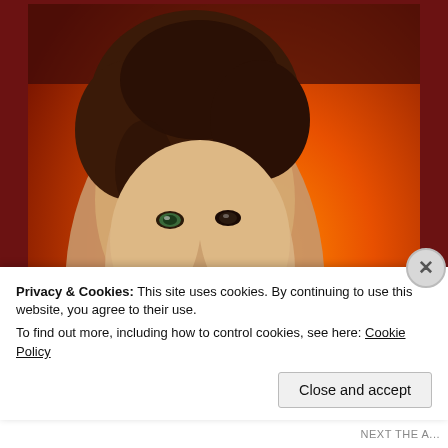[Figure (illustration): Book cover for 'A Harvest of...' showing a young man with curly brown hair and one green eye, set against a fiery orange background with flames. Text on cover reads: 'WHAT THE FIRE HAS LEARNED, THE ASHES WILL REMEMBER... FOREVER'. The bottom of the cover shows the partial title 'A HARVEST OF' in large letters.]
Privacy & Cookies: This site uses cookies. By continuing to use this website, you agree to their use.
To find out more, including how to control cookies, see here: Cookie Policy
Close and accept